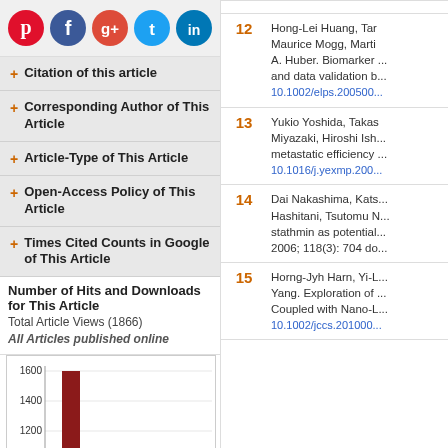[Figure (infographic): Social media sharing icons: Pinterest (red), Facebook (blue), Google+ (red/orange), Twitter (blue), LinkedIn (blue), arranged in a row]
+ Citation of this article
+ Corresponding Author of This Article
+ Article-Type of This Article
+ Open-Access Policy of This Article
+ Times Cited Counts in Google of This Article
Number of Hits and Downloads for This Article
Total Article Views (1866)
All Articles published online
[Figure (bar-chart): All Articles published online]
| # | Reference |
| --- | --- |
| 12 | Hong-Lei Huang, Tan... Maurice Mogg, Marti... A. Huber. Biomarker ... and data validation b... 10.1002/elps.200500... |
| 13 | Yukio Yoshida, Takas... Miyazaki, Hiroshi Ish... metastatic efficiency ... 10.1016/j.yexmp.200... |
| 14 | Dai Nakashima, Kats... Hashitani, Tsutomu N... stathmin as potential... 2006; 118(3): 704 do... |
| 15 | Horng-Jyh Harn, Yi-L... Yang. Exploration of ... Coupled with Nano-L... 10.1002/jccs.201000... |